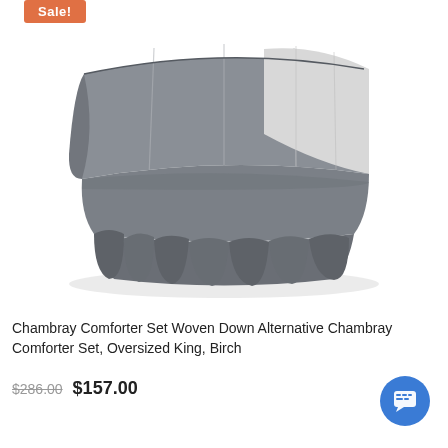[Figure (photo): Folded gray chambray comforter set with white/light gray reverse side, shown neatly folded on white background. Sale badge in orange/coral at top left.]
Chambray Comforter Set Woven Down Alternative Chambray Comforter Set, Oversized King, Birch
$286.00 $157.00